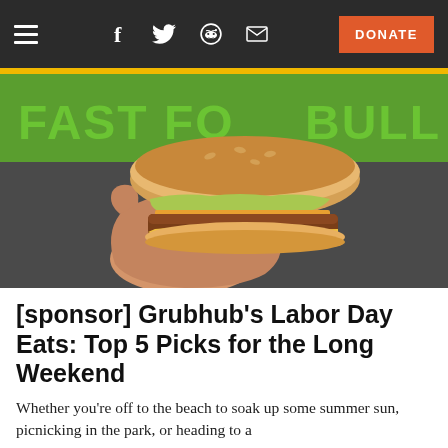Navigation bar with hamburger menu, social icons (Facebook, Twitter, Reddit, Email), and DONATE button
[Figure (photo): A hand holding up a burger/sandwich in front of a sign reading 'FAST FOOD BULL' (partially obscured) on a green background]
[sponsor] Grubhub's Labor Day Eats: Top 5 Picks for the Long Weekend
Whether you're off to the beach to soak up some summer sun, picnicking in the park, or heading to a